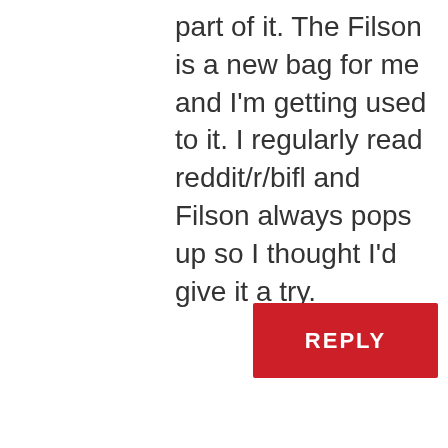part of it. The Filson is a new bag for me and I'm getting used to it. I regularly read reddit/r/bifl and Filson always pops up so I thought I'd give it a try.
REPLY